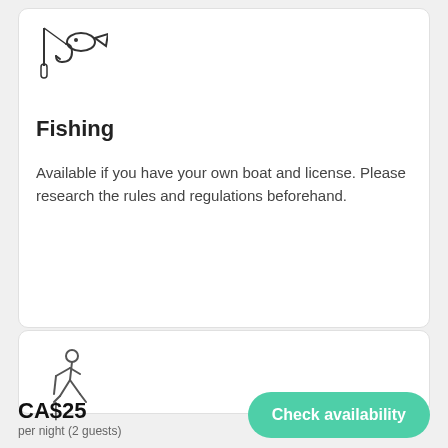[Figure (illustration): Fishing icon: a fishing hook and a fish outlined in a simple line drawing style]
Fishing
Available if you have your own boat and license. Please research the rules and regulations beforehand.
[Figure (illustration): Hiking icon: a person walking with a hiking stick, outline style]
CA$25 per night (2 guests)
Check availability